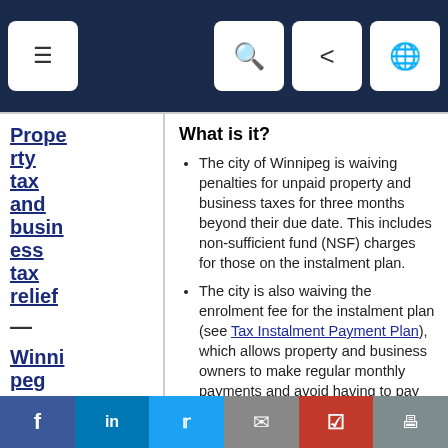[Figure (screenshot): Top navigation bar with hamburger menu icon on left and search, share, globe icons on right, dark navy background]
Property tax and business tax relief — Winnipeg
What is it?
The city of Winnipeg is waiving penalties for unpaid property and business taxes for three months beyond their due date. This includes non-sufficient fund (NSF) charges for those on the instalment plan.
The city is also waiving the enrolment fee for the instalment plan (see Tax Instalment Payment Plan), which allows property and business owners to make regular monthly payments and avoid having to pay your entire tax bill at once.
When is it in effect?
[Figure (screenshot): Bottom social sharing bar with Facebook, LinkedIn, Twitter, email, Pinterest, and print buttons]